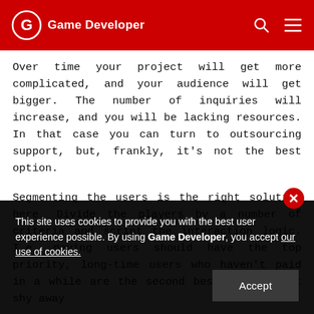Game Developer
Over time your project will get more complicated, and your audience will get bigger. The number of inquiries will increase, and you will be lacking resources. In that case you can turn to outsourcing support, but, frankly, it's not the best option.
Segmenting the users is the right solution here. Divide the players by a number of criteria and script the interaction logic. I.e. paying users should have the top priority, long-time users who haven't paid in a while are the second best, etc. Don't shy away
This site uses cookies to provide you with the best user experience possible. By using Game Developer, you accept our use of cookies.